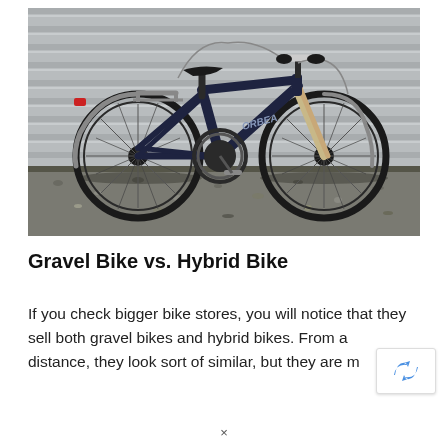[Figure (photo): A dark navy/black hybrid bicycle (Orbea brand) photographed from the side against a grey corrugated wall, standing on gravel ground. The bike has a rear rack, mudguards, and suspension fork.]
Gravel Bike vs. Hybrid Bike
If you check bigger bike stores, you will notice that they sell both gravel bikes and hybrid bikes. From a distance, they look sort of similar, but they are m